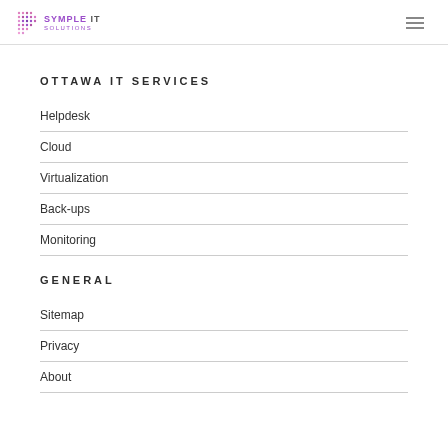SYMPLE IT SOLUTIONS
OTTAWA IT SERVICES
Helpdesk
Cloud
Virtualization
Back-ups
Monitoring
GENERAL
Sitemap
Privacy
About